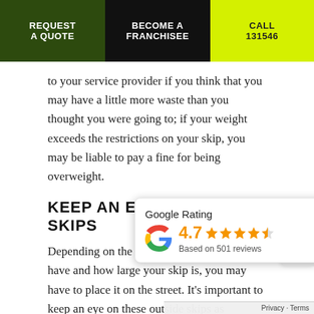REQUEST A QUOTE | BECOME A FRANCHISEE | CALL 131546
to your service provider if you think that you may have a little more waste than you thought you were going to; if your weight exceeds the restrictions on your skip, you may be liable to pay a fine for being overweight.
KEEP AN EYE ON OUTSIDE SKIPS
Depending on the amount of space that you have and how large your skip is, you may have to place it on the street. It's important to keep an eye on these outside skips as neighbours or people that walk by may think that it's a bin to be used by everyone and somebody puts their own trash in it, which can cause you problems later down the line.
[Figure (other): Google Rating widget showing 4.7 rating with 4.5 stars based on 501 reviews]
These are just some of the dos when it comes to skip